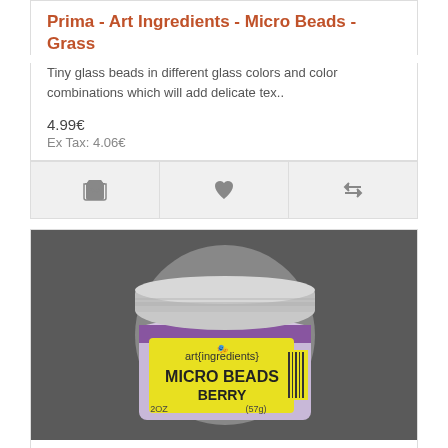Prima - Art Ingredients - Micro Beads - Grass
Tiny glass beads in different glass colors and color combinations which will add delicate tex..
4.99€
Ex Tax: 4.06€
[Figure (photo): Jar of Prima Art Ingredients Micro Beads Berry, 2oz (57g), with silver metal lid and yellow label, on dark gray background]
Prima - Art Ingredients - Micro Beads - Berry